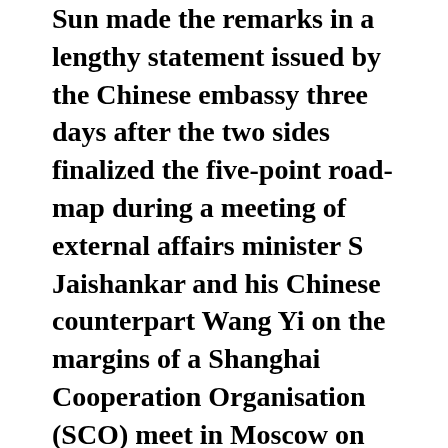Sun made the remarks in a lengthy statement issued by the Chinese embassy three days after the two sides finalized the five-point road-map during a meeting of external affairs minister S Jaishankar and his Chinese counterpart Wang Yi on the margins of a Shanghai Cooperation Organisation (SCO) meet in Moscow on Thursday.

There was no immediate response to the Chinese envoy's remarks from Indian